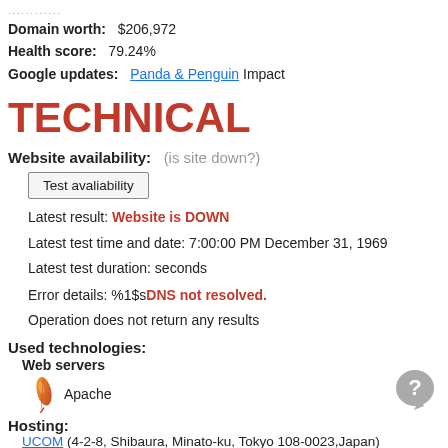............
Domain worth: $206,972
Health score: 79.24%
Google updates: Panda & Penguin Impact
TECHNICAL
Website availability: (is site down?)
Test avaliability
Latest result: Website is DOWN
Latest test time and date: 7:00:00 PM December 31, 1969
Latest test duration: seconds
Error details: %1$sDNS not resolved.
Operation does not return any results
Used technologies:
Web servers
[Figure (illustration): Apache feather logo icon]
Apache
Hosting:
UCOM (4-2-8, Shibaura, Minato-ku, Tokyo 108-0023,Japan)